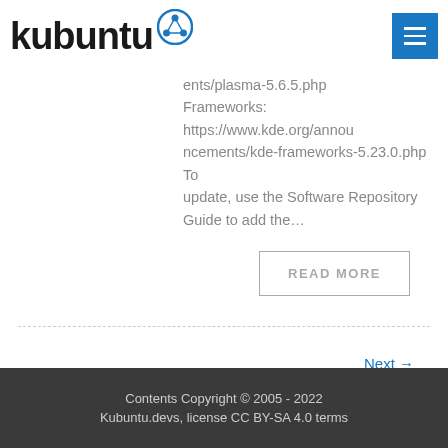kubuntu
ents/plasma-5.6.5.php Frameworks: https://www.kde.org/announcements/kde-frameworks-5.23.0.php To update, use the Software Repository Guide to add the…
READ MORE
Next →
Contents Copyright © 2005 - 2022 Kubuntu.devs, license CC BY-SA 4.0 terms